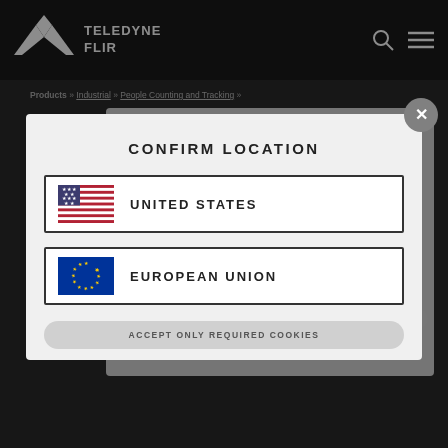[Figure (logo): Teledyne FLIR logo in top navigation bar]
Products » Industrial » People Counting and Tracking »
This website uses cookies
We use cookies to personalise content and to improve performance based on your interests and to aid performance. We also use third-party cookies. By clicking 'Accept All', you consent to the use of all of these cookies. To find out more, please see our cookie notice here
CONFIRM LOCATION
UNITED STATES
EUROPEAN UNION
ACCEPT ONLY REQUIRED COOKIES
Go to Product Support